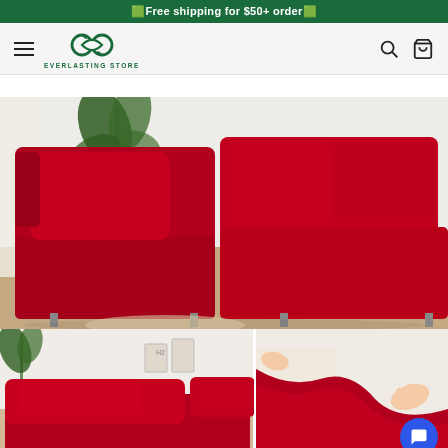🟩Free shipping for $50+ order🟩
[Figure (logo): Everlasting Store logo — infinity symbol with 'EVERLASTING STORE' text below, in green]
[Figure (photo): Red L-shaped sofa with matching red cushions in a living room setting with a plant in the background]
[Figure (photo): Two thumbnail images: left shows a red sofa in a living room; right shows hands stretching red fabric]